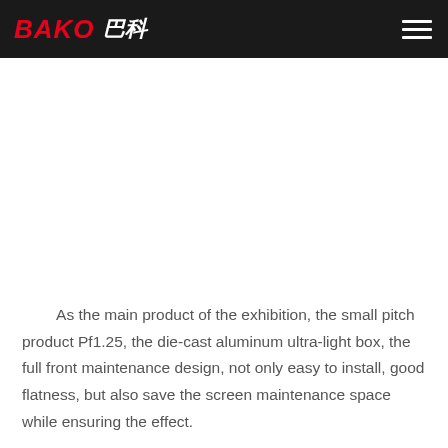BAKO 巴科
[Figure (photo): White/blank image area below the header navigation bar]
As the main product of the exhibition, the small pitch product Pf1.25, the die-cast aluminum ultra-light box, the full front maintenance design, not only easy to install, good flatness, but also save the screen maintenance space while ensuring the effect.